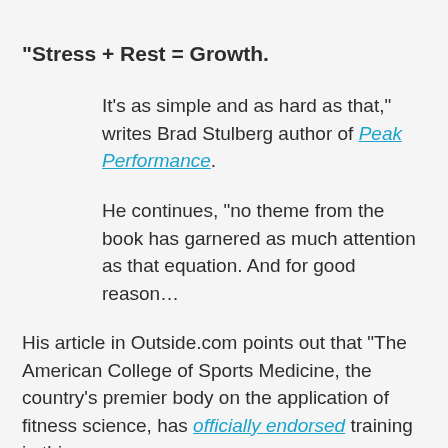“Stress + Rest = Growth.
It’s as simple and as hard as that,” writes Brad Stulberg author of Peak Performance.
He continues, “no theme from the book has garnered as much attention as that equation. And for good reason…
His article in Outside.com points out that “The American College of Sports Medicine, the country’s premier body on the application of fitness science, has officially endorsed training in this manner